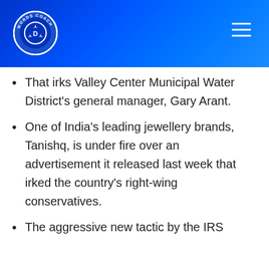[Figure (logo): Words Coach logo circle with camera aperture icon and letter D in center, white on blue background]
That irks Valley Center Municipal Water District's general manager, Gary Arant.
One of India's leading jewellery brands, Tanishq, is under fire over an advertisement it released last week that irked the country's right-wing conservatives.
The aggressive new tactic by the IRS